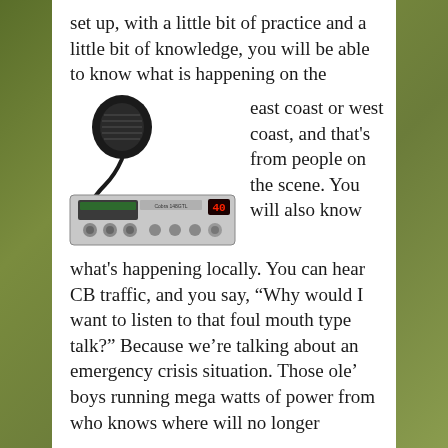set up, with a little bit of practice and a little bit of knowledge, you will be able to know what is happening on the
[Figure (photo): A CB radio transceiver with a handheld microphone, silver/grey body with knobs and a red digital channel display showing 40]
east coast or west coast, and that's from people on the scene. You will also know what's happening locally. You can hear CB traffic, and you say, “Why would I want to listen to that foul mouth type talk?” Because we’re talking about an emergency crisis situation. Those ole’ boys running mega watts of power from who knows where will no longer